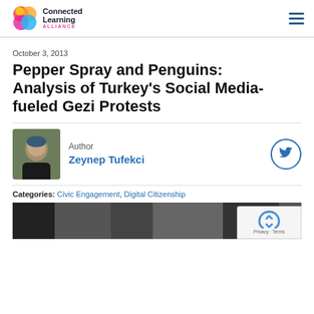Connected Learning Alliance
October 3, 2013
Pepper Spray and Penguins: Analysis of Turkey's Social Media-fueled Gezi Protests
Author: Zeynep Tufekci
Categories: Civic Engagement, Digital Citizenship
[Figure (photo): Dark blurred photo strip at bottom of page]